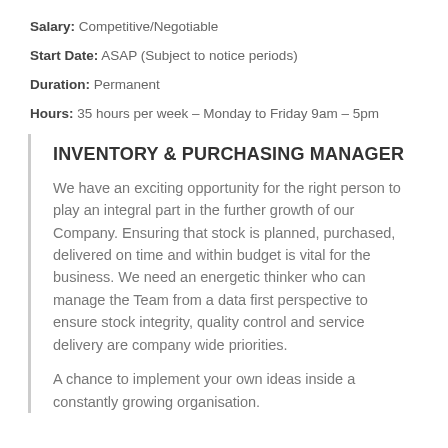Salary: Competitive/Negotiable
Start Date: ASAP (Subject to notice periods)
Duration: Permanent
Hours: 35 hours per week – Monday to Friday 9am – 5pm
INVENTORY & PURCHASING MANAGER
We have an exciting opportunity for the right person to play an integral part in the further growth of our Company. Ensuring that stock is planned, purchased, delivered on time and within budget is vital for the business. We need an energetic thinker who can manage the Team from a data first perspective to ensure stock integrity, quality control and service delivery are company wide priorities.
A chance to implement your own ideas inside a constantly growing organisation.